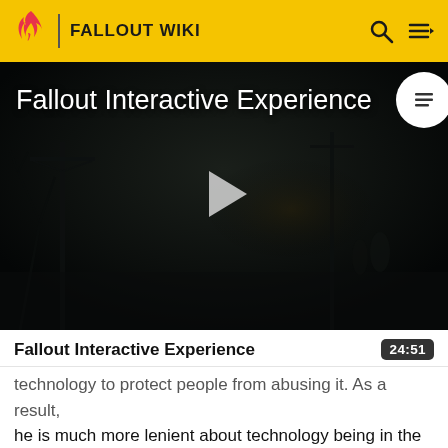FALLOUT WIKI
[Figure (screenshot): Dark post-apocalyptic video still showing bare trees, utility poles, and distant figures in near-darkness. Play button overlay in the center. Title reads 'Fallout Interactive Experience'. TOC button top-right.]
Fallout Interactive Experience
24:51
technology to protect people from abusing it. As a result, he is much more lenient about technology being in the hands of outsiders, and allocates teams of soldiers to combat dangers that would otherwise harm or kill the